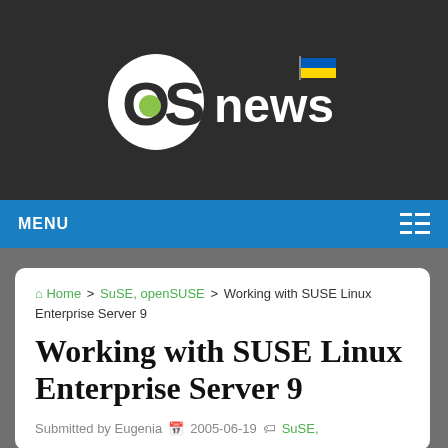[Figure (logo): OSnews logo with Ukrainian flag on dark background]
MENU
Home > SuSE, openSUSE > Working with SUSE Linux Enterprise Server 9
Working with SUSE Linux Enterprise Server 9
Submitted by Eugenia  2005-06-19  SuSE,